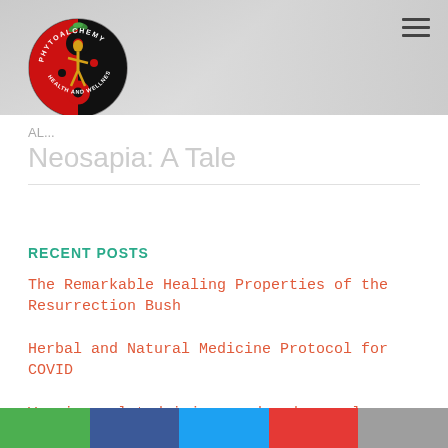[Figure (logo): Phytoalchemy Health and Wellness circular logo with red and black yin-yang style design, golden human figure, green leaves, and circular text reading PHYTOALCHEMY HEALTH AND WELLNESS]
Neosapia: A Tale
RECENT POSTS
The Remarkable Healing Properties of the Resurrection Bush
Herbal and Natural Medicine Protocol for COVID
Vaccine related injury and and mycoplasma contamination